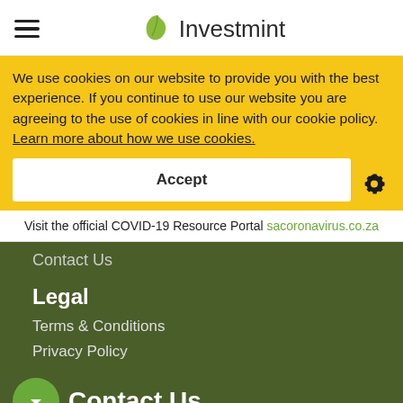Investmint
We use cookies on our website to provide you with the best experience. If you continue to use our website you are agreeing to the use of cookies in line with our cookie policy. Learn more about how we use cookies.
Accept
Visit the official COVID-19 Resource Portal sacoronavirus.co.za
Contact Us
Legal
Terms & Conditions
Privacy Policy
Contact Us
info@investmint.co.za